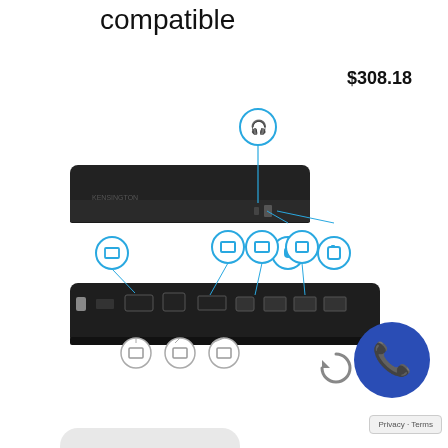compatible
$308.18
[Figure (photo): A docking station (top and bottom view) with annotated port icons including headphone jack, USB, audio, DisplayPort, HDMI, Ethernet, and USB-A ports marked with circular callout icons]
[Figure (other): Blue phone call button badge overlay]
Privacy · Terms